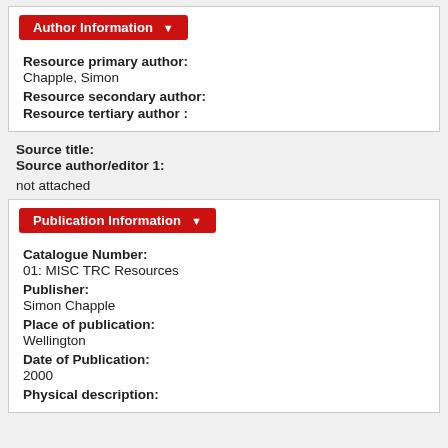Author Information
Resource primary author:
Chapple, Simon
Resource secondary author:
Resource tertiary author :
Source title:
Source author/editor 1:
not attached
Publication Information
Catalogue Number:
01: MISC TRC Resources
Publisher:
Simon Chapple
Place of publication:
Wellington
Date of Publication:
2000
Physical description: